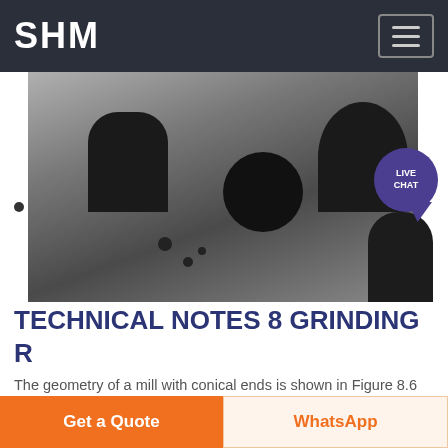SHM
[Figure (photo): Close-up photo of a grinding mill component showing circular and elongated holes in a metal surface]
TECHNICAL NOTES 8 GRINDING R
The geometry of a mill with conical ends is shown in Figure 8.6 The total volume inside the mill is given by Vm 4 D2 mL 1 2 Lc L L 1 Dt/Dm 3 1 Dt/Dm 8.16 The density of the charge must account for all of the material in the mill including the media which may be